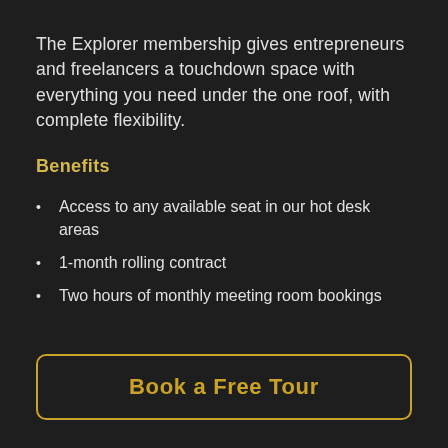The Explorer membership gives entrepreneurs and freelancers a touchdown space with everything you need under the one roof, with complete flexibility.
Benefits
Access to any available seat in our hot desk areas
1-month rolling contract
Two hours of monthly meeting room bookings
Book a Free Tour